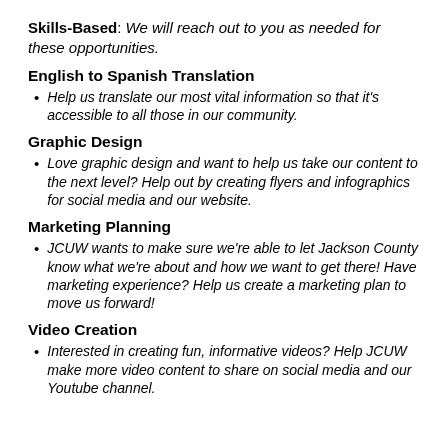Skills-Based: We will reach out to you as needed for these opportunities.
English to Spanish Translation
Help us translate our most vital information so that it's accessible to all those in our community.
Graphic Design
Love graphic design and want to help us take our content to the next level? Help out by creating flyers and infographics for social media and our website.
Marketing Planning
JCUW wants to make sure we're able to let Jackson County know what we're about and how we want to get there! Have marketing experience? Help us create a marketing plan to move us forward!
Video Creation
Interested in creating fun, informative videos? Help JCUW make more video content to share on social media and our Youtube channel.